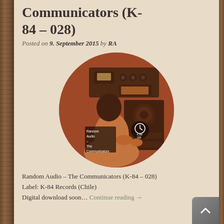Communicators (K-84 – 028)
Posted on 9. September 2015 by RA
[Figure (photo): Circular album art for Random Audio – The Communicators (K-84 – 028). Shows a person operating radio/audio equipment with knobs and dials, with an orange-brown tinted vintage photograph. Text overlaid: 'Random Audio – The Communicators' on left side and logo/catalog number K-84 028 on right.]
Random Audio – The Communicators (K-84 – 028)
Label: K-84 Records (Chile)
Digital download soon… Continue reading →